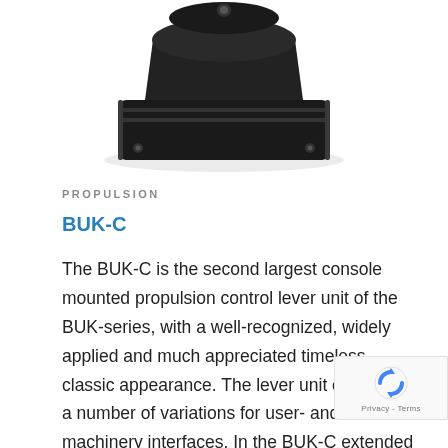[Figure (photo): Bottom portion of a black console-mounted propulsion control lever unit (BUK-C) shown against white background, with visible mounting hardware and angular body]
PROPULSION
BUK-C
The BUK-C is the second largest console mounted propulsion control lever unit of the BUK-series, with a well-recognized, widely applied and much appreciated timeless classic appearance. The lever unit comes in a number of variations for user- and machinery interfaces. In the BUK-C extended version, a maximum of four HMI pushbuttons/buzzers/signal lamps/dimmers can be incorporated, as well as a wide range of electrical